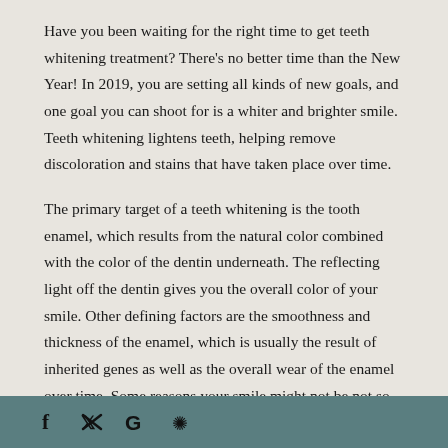Have you been waiting for the right time to get teeth whitening treatment? There's no better time than the New Year! In 2019, you are setting all kinds of new goals, and one goal you can shoot for is a whiter and brighter smile. Teeth whitening lightens teeth, helping remove discoloration and stains that have taken place over time.
The primary target of a teeth whitening is the tooth enamel, which results from the natural color combined with the color of the dentin underneath. The reflecting light off the dentin gives you the overall color of your smile. Other defining factors are the smoothness and thickness of the enamel, which is usually the result of inherited genes as well as the overall wear of the enamel over time. Some reasons your smile might not be not so bright may include:
– Poor dental care (not brushing and flossing every single day or not attending regular dental visits)
f  Twitter  G  Yelp social icons